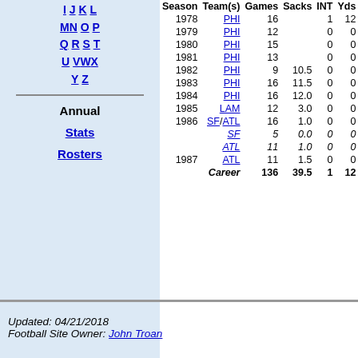I J K L M N O P Q R S T U V W X Y Z
Annual
Stats
Rosters
| Season | Team(s) | Games | Sacks | INT | Yds | Avg | TD | Fu... |
| --- | --- | --- | --- | --- | --- | --- | --- | --- |
| 1978 | PHI | 16 |  | 1 | 12 | 12.0 | 0 |  |
| 1979 | PHI | 12 |  | 0 | 0 | 0.0 | 0 |  |
| 1980 | PHI | 15 |  | 0 | 0 | 0.0 | 0 |  |
| 1981 | PHI | 13 |  | 0 | 0 | 0.0 | 0 |  |
| 1982 | PHI | 9 | 10.5 | 0 | 0 | 0.0 | 0 |  |
| 1983 | PHI | 16 | 11.5 | 0 | 0 | 0.0 | 0 |  |
| 1984 | PHI | 16 | 12.0 | 0 | 0 | 0.0 | 0 |  |
| 1985 | LAM | 12 | 3.0 | 0 | 0 | 0.0 | 0 |  |
| 1986 | SF/ATL | 16 | 1.0 | 0 | 0 | 0.0 | 0 |  |
|  | SF | 5 | 0.0 | 0 | 0 | 0.0 | 0 |  |
|  | ATL | 11 | 1.0 | 0 | 0 | 0.0 | 0 |  |
| 1987 | ATL | 11 | 1.5 | 0 | 0 | 0.0 | 0 |  |
| Career |  | 136 | 39.5 | 1 | 12 | 12.0 | 0 |  |
Updated: 04/21/2018
Football Site Owner: John Troan